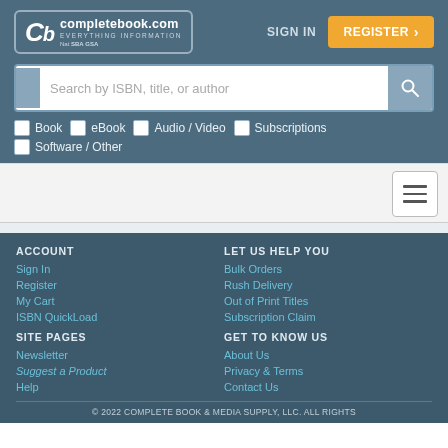[Figure (logo): completebook.com logo with CB monogram and tagline EVERYTHING INFORMATION, with SBA GSA badges]
SIGN IN
REGISTER >
Search by ISBN, title, or author
Book
eBook
Audio / Video
Subscriptions
Software / Other
ACCOUNT
Sign In
Register
My Cart
ISBN QuickLoad
LET US HELP YOU
Bulk Orders
Rush Delivery
Out of Print Titles
Subscription Claim
SITE PAGES
Newsletter
Suggest a Product
Help
GET TO KNOW US
About Us
Privacy & Terms
Contact Us
© 2022 COMPLETE BOOK & MEDIA SUPPLY, LLC. ALL RIGHTS